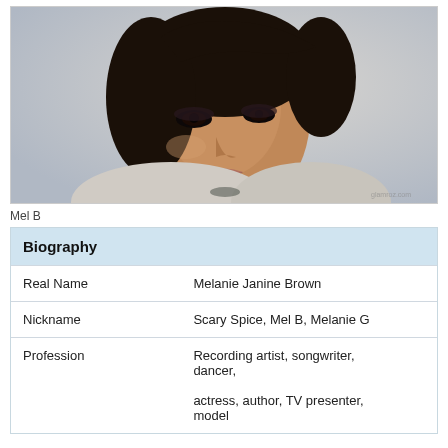[Figure (photo): Close-up portrait photo of Mel B, a woman with dark hair and dramatic eye makeup, wearing a light-colored top, looking toward the camera against a light gray background.]
Mel B
|  |  |
| --- | --- |
| Biography |  |
| Real Name | Melanie Janine Brown |
| Nickname | Scary Spice, Mel B, Melanie G |
| Profession | Recording artist, songwriter, dancer,

actress, author, TV presenter, model |